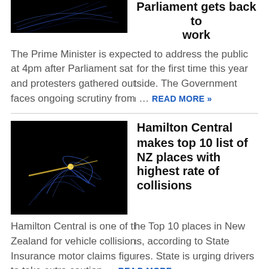[Figure (photo): Dark background image with light streaks, cropped article thumbnail at top]
Parliament gets back to work
The Prime Minister is expected to address the public at 4pm after Parliament sat for the first time this year and protesters gathered outside. The Government faces ongoing scrutiny from … READ MORE »
[Figure (photo): Dark background image showing glowing particle or comet-like streaks on black background]
Hamilton Central makes top 10 list of NZ places with highest rate of collisions
Hamilton Central is one of the Top 10 places in New Zealand for vehicle collisions, according to State Insurance motor claims figures. State is urging drivers to take extra caution … READ MORE »